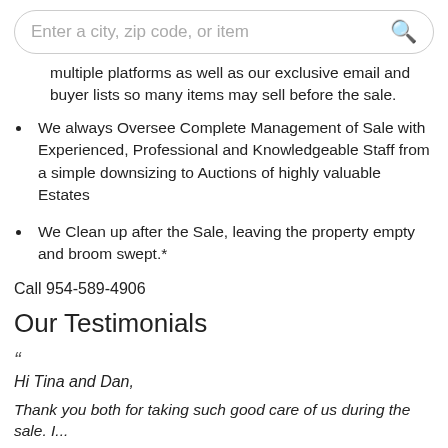Enter a city, zip code, or item
multiple platforms as well as our exclusive email and buyer lists so many items may sell before the sale.
We always Oversee Complete Management of Sale with Experienced, Professional and Knowledgeable Staff from a simple downsizing to Auctions of highly valuable Estates
We Clean up after the Sale, leaving the property empty and broom swept.*
Call 954-589-4906
Our Testimonials
“
Hi Tina and Dan,
Thank you both for taking such good care of us during the sale. I...